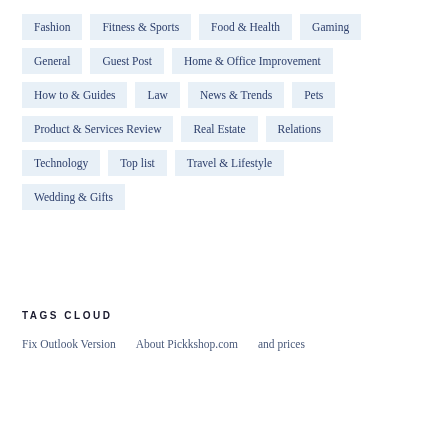Fashion
Fitness & Sports
Food & Health
Gaming
General
Guest Post
Home & Office Improvement
How to & Guides
Law
News & Trends
Pets
Product & Services Review
Real Estate
Relations
Technology
Top list
Travel & Lifestyle
Wedding & Gifts
TAGS CLOUD
Fix Outlook Version   About Pickkshop.com   and prices